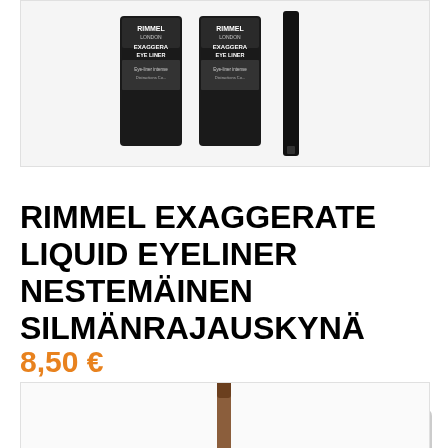[Figure (photo): Product photo showing Rimmel London Exaggerate Eye Liner products — two pencil-style eyeliners and one liquid eyeliner pen, all in black packaging]
RIMMEL EXAGGERATE LIQUID EYELINER NESTEMÄINEN SILMÄNRAJAUSKYNÄ
8,50 €
LUE LISÄÄ »
[Figure (photo): Product photo showing a brown/bronze eye pencil or eyeliner pencil]